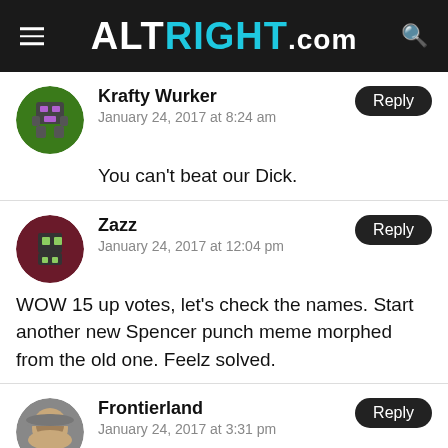ALTRIGHT.COM
Krafty Wurker
January 24, 2017 at 8:24 am
You can't beat our Dick.
Zazz
January 24, 2017 at 12:04 pm
WOW 15 up votes, let's check the names. Start another new Spencer punch meme morphed from the old one. Feelz solved.
Frontierland
January 24, 2017 at 3:31 pm
In a sense Social Media is real life, but,